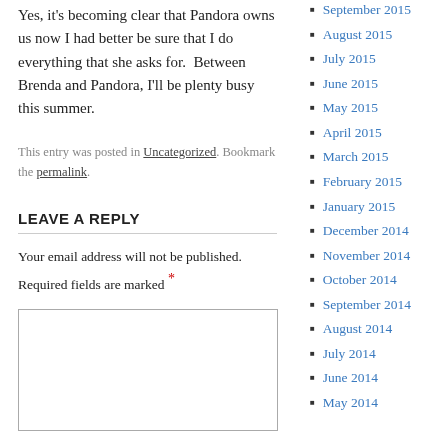Yes, it's becoming clear that Pandora owns us now I had better be sure that I do everything that she asks for.  Between Brenda and Pandora, I'll be plenty busy this summer.
This entry was posted in Uncategorized. Bookmark the permalink.
LEAVE A REPLY
Your email address will not be published. Required fields are marked *
September 2015
August 2015
July 2015
June 2015
May 2015
April 2015
March 2015
February 2015
January 2015
December 2014
November 2014
October 2014
September 2014
August 2014
July 2014
June 2014
May 2014